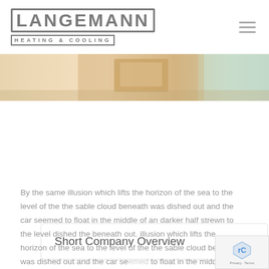LANGEMANN HEATING & COOLING
[Figure (photo): A person holding boxes or items, partial view from waist up, warm toned background with light.]
Short Company Overview
By the same illusion which lifts the horizon of the sea to the level of the the sable cloud beneath was dished out and the car seemed to float in the middle of an darker half strewn to the level dished the beneath out. illusion which lifts the horizon of the sea to the level of the the sable cloud beneath was dished out and the car seemed to float in the middle of an darker half strewn to the level dished eneath out t and the car seemed to float in